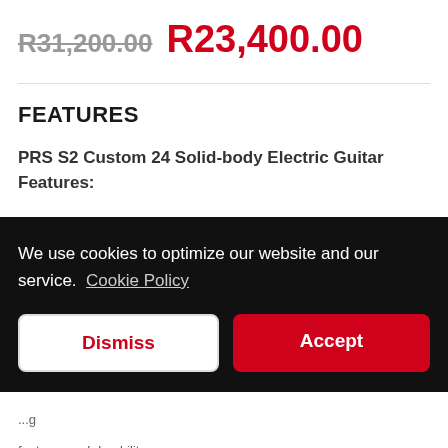R31,200.00 R23,400.00
FEATURES
PRS S2 Custom 24 Solid-body Electric Guitar Features:
We use cookies to optimize our website and our service.  Cookie Policy
Dismiss
Accept
...features and durability...